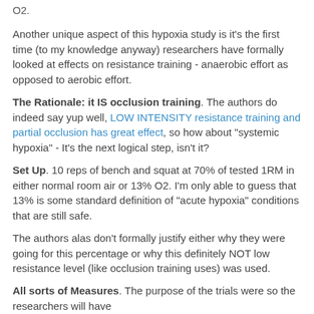O2.
Another unique aspect of this hypoxia study is it's the first time (to my knowledge anyway) researchers have formally looked at effects on resistance training - anaerobic effort as opposed to aerobic effort.
The Rationale: it IS occlusion training. The authors do indeed say yup well, LOW INTENSITY resistance training and partial occlusion has great effect, so how about "systemic hypoxia" - It's the next logical step, isn't it?
Set Up. 10 reps of bench and squat at 70% of tested 1RM in either normal room air or 13% O2. I'm only able to guess that 13% is some standard definition of "acute hypoxia" conditions that are still safe.
The authors alas don't formally justify either why they were going for this percentage or why this definitely NOT low resistance level (like occlusion training uses) was used.
All sorts of Measures. The purpose of the trials were so the researchers will have…